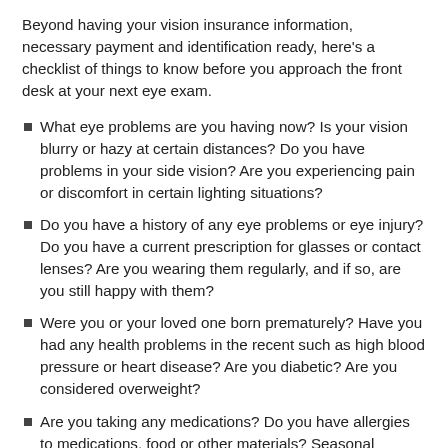Beyond having your vision insurance information, necessary payment and identification ready, here’s a checklist of things to know before you approach the front desk at your next eye exam.
What eye problems are you having now? Is your vision blurry or hazy at certain distances? Do you have problems in your side vision? Are you experiencing pain or discomfort in certain lighting situations?
Do you have a history of any eye problems or eye injury? Do you have a current prescription for glasses or contact lenses? Are you wearing them regularly, and if so, are you still happy with them?
Were you or your loved one born prematurely? Have you had any health problems in the recent such as high blood pressure or heart disease? Are you diabetic? Are you considered overweight?
Are you taking any medications? Do you have allergies to medications, food or other materials? Seasonal allergies?
Has anyone in your family (including parents) suffered from eye problems or diseases such as cataracts, glaucoma or macular degeneration?